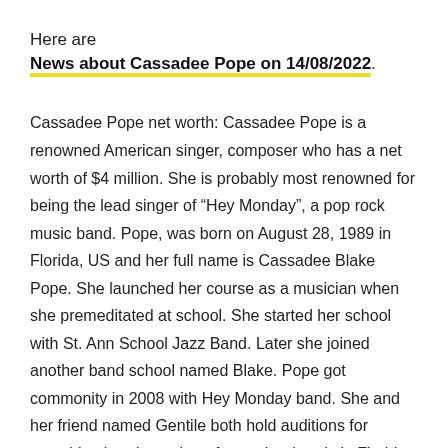Here are News about Cassadee Pope on 14/08/2022.
Cassadee Pope net worth: Cassadee Pope is a renowned American singer, composer who has a net worth of $4 million. She is probably most renowned for being the lead singer of “Hey Monday”, a pop rock music band. Pope, was born on August 28, 1989 in Florida, US and her full name is Cassadee Blake Pope. She launched her course as a musician when she premeditated at school. She started her school with St. Ann School Jazz Band. Later she joined another band school named Blake. Pope got commonity in 2008 with Hey Monday band. She and her friend named Gentile both hold auditions for searching band members from other bands in Florida. After long search they establi…